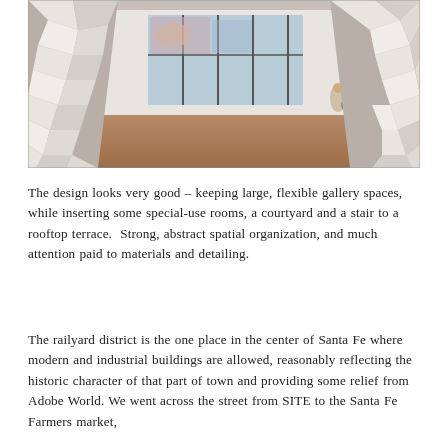[Figure (photo): Interior gallery space with large white sculptural wall installation on the left and right sides forming an arch/tunnel shape. The space has wood flooring and in the background there are large windows with steel frames, a colorful mural or artwork visible, and people standing and sitting in the space with modern furniture.]
The design looks very good – keeping large, flexible gallery spaces, while inserting some special-use rooms, a courtyard and a stair to a rooftop terrace.  Strong, abstract spatial organization, and much attention paid to materials and detailing.
The railyard district is the one place in the center of Santa Fe where modern and industrial buildings are allowed, reasonably reflecting the historic character of that part of town and providing some relief from Adobe World. We went across the street from SITE to the Santa Fe Farmers market,